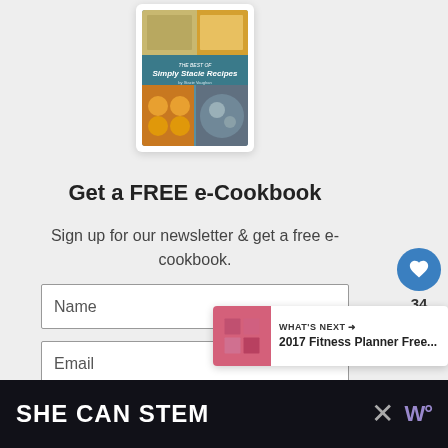[Figure (photo): Book cover for 'The Best of Simply Stacie Recipes' showing a grid of food photos on a tablet device]
Get a FREE e-Cookbook
Sign up for our newsletter & get a free e-cookbook.
Name
Email
I want it!
[Figure (screenshot): What's Next panel showing 2017 Fitness Planner Free... with a pink/red grid thumbnail]
34
[Figure (infographic): Bottom advertisement banner reading SHE CAN STEM with dark background and X close button]